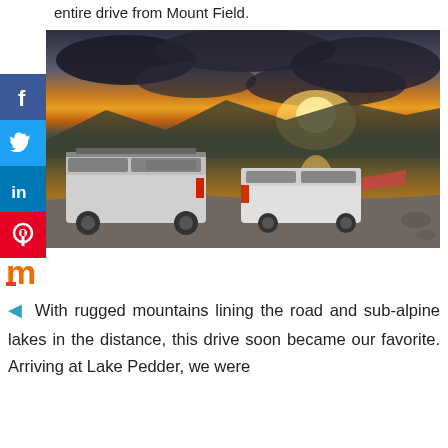entire drive from Mount Field.
[Figure (photo): Two white campervans/motorhomes parked by the edge of a lake at sunset, with dramatic cloudy sky showing orange and golden light reflecting on the water. Mountains visible in the background.]
[Figure (logo): Mixcloud logo - orange/red letter m]
With rugged mountains lining the road and sub-alpine lakes in the distance, this drive soon became our favorite. Arriving at Lake Pedder, we were